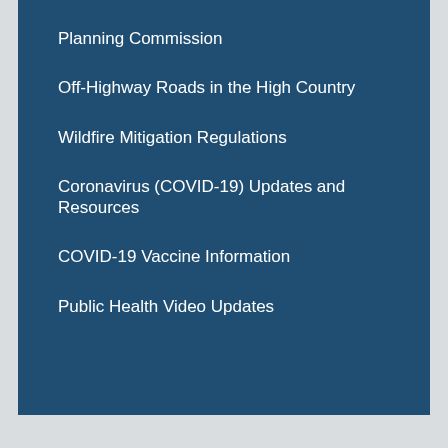Planning Commission
Off-Highway Roads in the High Country
Wildfire Mitigation Regulations
Coronavirus (COVID-19) Updates and Resources
COVID-19 Vaccine Information
Public Health Video Updates